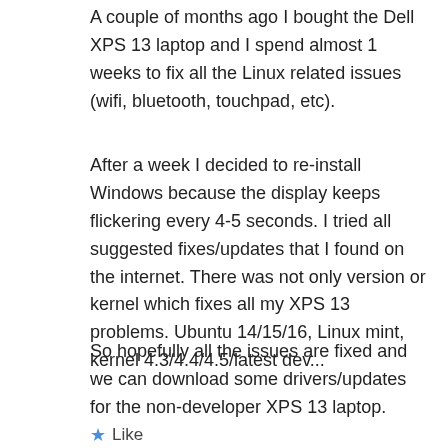A couple of months ago I bought the Dell XPS 13 laptop and I spend almost 1 weeks to fix all the Linux related issues (wifi, bluetooth, touchpad, etc).
After a week I decided to re-install Windows because the display keeps flickering every 4-5 seconds. I tried all suggested fixes/updates that I found on the internet. There was not only version or kernel which fixes all my XPS 13 problems. Ubuntu 14/15/16, Linux mint, kernel 4.3/4.4/4.5/latest dev...
So hopefully all the issues are fixed and we can download some drivers/updates for the non-developer XPS 13 laptop.
Like